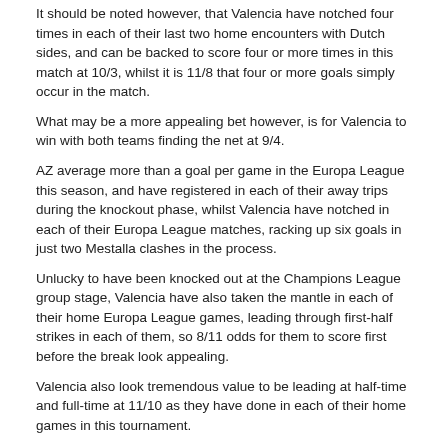It should be noted however, that Valencia have notched four times in each of their last two home encounters with Dutch sides, and can be backed to score four or more times in this match at 10/3, whilst it is 11/8 that four or more goals simply occur in the match.
What may be a more appealing bet however, is for Valencia to win with both teams finding the net at 9/4.
AZ average more than a goal per game in the Europa League this season, and have registered in each of their away trips during the knockout phase, whilst Valencia have notched in each of their Europa League matches, racking up six goals in just two Mestalla clashes in the process.
Unlucky to have been knocked out at the Champions League group stage, Valencia have also taken the mantle in each of their home Europa League games, leading through first-half strikes in each of them, so 8/11 odds for them to score first before the break look appealing.
Valencia also look tremendous value to be leading at half-time and full-time at 11/10 as they have done in each of their home games in this tournament.
Roberto Soldado may be an obvious first scorer selection, but the 5/2 shot proved his credentials with five Champions League strikes earlier in the campaign, and should be backed to get the La Liga outfit off to a good start in this game as well.